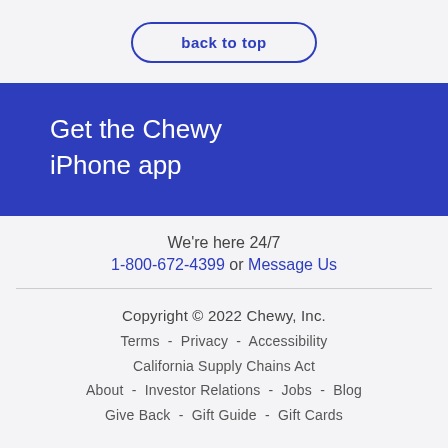back to top
Get the Chewy iPhone app
We're here 24/7
1-800-672-4399 or Message Us
Copyright © 2022 Chewy, Inc.
Terms - Privacy - Accessibility
California Supply Chains Act
About - Investor Relations - Jobs - Blog
Give Back - Gift Guide - Gift Cards